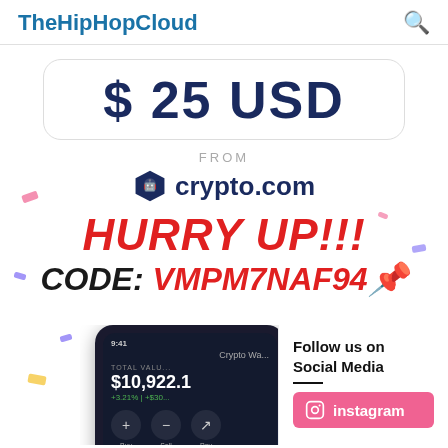TheHipHopCloud
$ 25 USD
FROM
crypto.com
HURRY UP!!!
CODE: VMPM7NAF94
[Figure (screenshot): Crypto.com wallet app screenshot showing total value $10,922.1, +3.21% change, with Buy, Sell, Pay buttons]
Follow us on Social Media
instagram